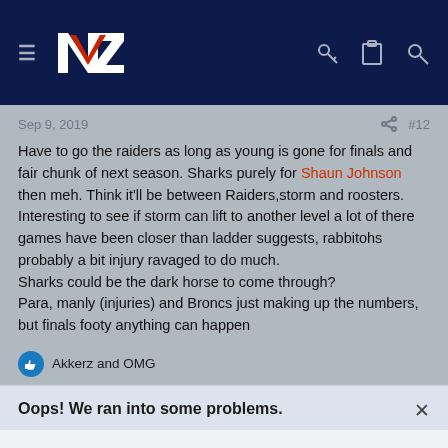Navigation header with logo and icons
Sep 9, 2019  #12
Have to go the raiders as long as young is gone for finals and fair chunk of next season. Sharks purely for Shaun Johnson then meh. Think it'll be between Raiders,storm and roosters.
Interesting to see if storm can lift to another level a lot of there games have been closer than ladder suggests, rabbitohs probably a bit injury ravaged to do much.
Sharks could be the dark horse to come through?
Para, manly (injuries) and Broncs just making up the numbers, but finals footy anything can happen
Akkerz and OMG
Oops! We ran into some problems.
Cookies are required to use this site. You must accept them to continue using the site.